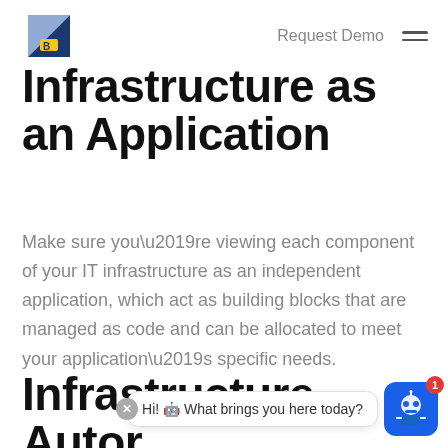Request Demo
Infrastructure as an Application
Make sure you’re viewing each component of your IT infrastructure as an independent application, which act as building blocks that are managed as code and can be allocated to meet your application’s specific needs.
Infrastructure Autor…